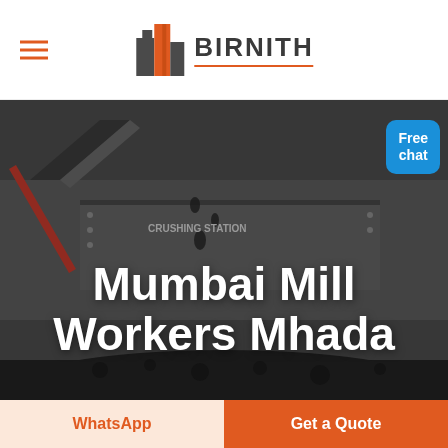[Figure (logo): Birnith logo with orange building icon and brand name BIRNITH with orange underline]
[Figure (photo): Industrial crushing station machinery with coal/rock material, dark grey tones]
Mumbai Mill Workers Mhada
[Figure (other): Free chat bubble button in blue with a customer service representative icon]
WhatsApp
Get a Quote